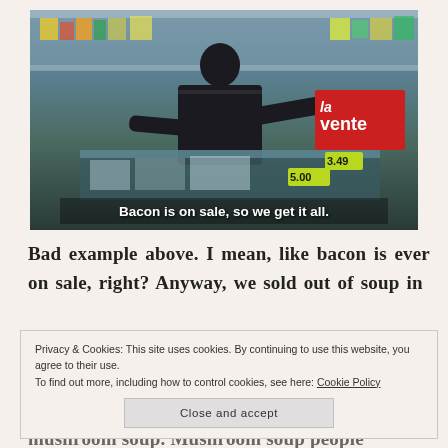[Figure (photo): A man shopping in a supermarket, leaning over a refrigerated display case with store shelves visible in background. A red promotional sign reads 'la vente' with prices 3.49 and 5.00. Subtitle overlay reads: Bacon is on sale, so we get it all.]
Bad example above. I mean, like bacon is ever on sale, right? Anyway, we sold out of soup in
Privacy & Cookies: This site uses cookies. By continuing to use this website, you agree to their use.
To find out more, including how to control cookies, see here: Cookie Policy
Close and accept
mushroom soup. Mushroom soup people